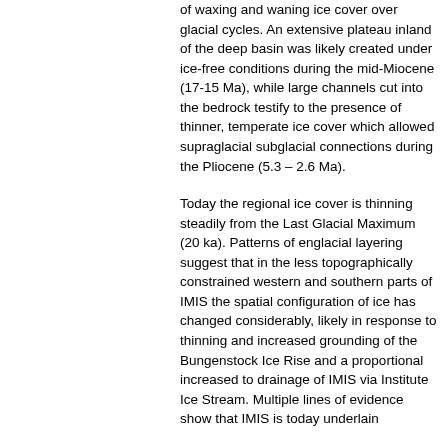of waxing and waning ice cover over glacial cycles. An extensive plateau inland of the deep basin was likely created under ice-free conditions during the mid-Miocene (17-15 Ma), while large channels cut into the bedrock testify to the presence of thinner, temperate ice cover which allowed supraglacial subglacial connections during the Pliocene (5.3 – 2.6 Ma).
Today the regional ice cover is thinning steadily from the Last Glacial Maximum (20 ka). Patterns of englacial layering suggest that in the less topographically constrained western and southern parts of IMIS the spatial configuration of ice has changed considerably, likely in response to thinning and increased grounding of the Bungenstock Ice Rise and a proportional increased to drainage of IMIS via Institute Ice Stream. Multiple lines of evidence show that IMIS is today underlain